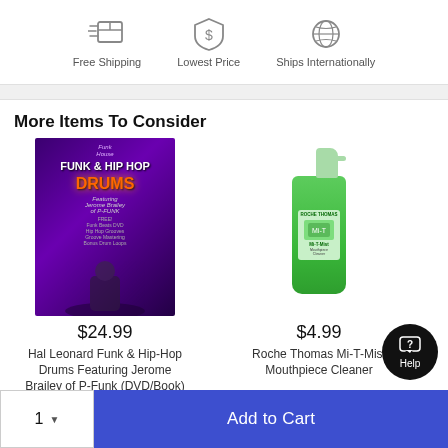[Figure (infographic): Three icons: Free Shipping (box with speed lines), Lowest Price (shield with dollar sign), Ships Internationally (globe). Each with label below.]
More Items To Consider
[Figure (photo): DVD/Book cover: Funk & Hip Hop Drums featuring Jerome Brailey of P-Funk, dark purple background with performer]
$24.99
Hal Leonard Funk & Hip-Hop Drums Featuring Jerome Brailey of P-Funk (DVD/Book)
[Figure (photo): Green spray bottle of Roche Thomas Mi-T-Mist Mouthpiece Cleaner]
$4.99
Roche Thomas Mi-T-Mist Mouthpiece Cleaner